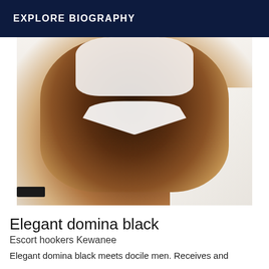EXPLORE BIOGRAPHY
[Figure (photo): A person photographed from behind wearing a white top and white underwear, posed on a white couch/sofa. A dark object is visible at the bottom left.]
Elegant domina black
Escort hookers Kewanee
Elegant domina black meets docile men. Receives and